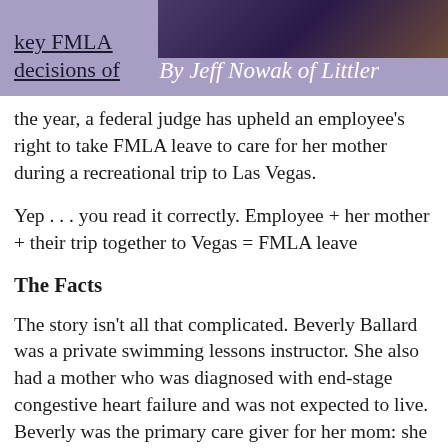[Figure (photo): Header band with purple/lavender background, photo of lights/bokeh on right side]
key FMLA decisions of
By Jeff Nowak of Littler
the year, a federal judge has upheld an employee’s right to take FMLA leave to care for her mother during a recreational trip to Las Vegas.
Yep . . . you read it correctly.  Employee + her mother + their trip together to Vegas = FMLA leave
The Facts
The story isn’t all that complicated.  Beverly Ballard was a private swimming lessons instructor.  She also had a mother who was diagnosed with end-stage congestive heart failure and was not expected to live.  Beverly was the primary care giver for her mom: she was responsible for preparing her meals; administering her mom’s insulin shots and